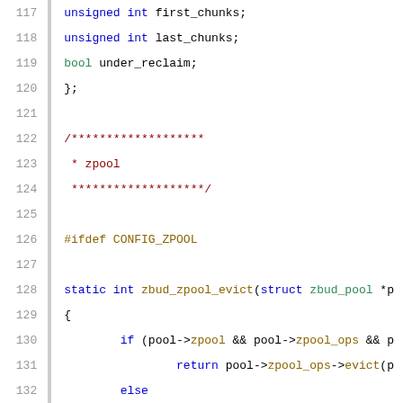Source code listing lines 117-137, C language kernel code for zbud zpool implementation
117        unsigned int first_chunks;
118        unsigned int last_chunks;
119        bool under_reclaim;
120    };
121
122    /*******************
123     * zpool
124     *******************/
125
126    #ifdef CONFIG_ZPOOL
127
128    static int zbud_zpool_evict(struct zbud_pool *p...
129    {
130            if (pool->zpool && pool->zpool_ops && p...
131                    return pool->zpool_ops->evict(p...
132            else
133                    return -ENOENT;
134    }
135
136    static const struct zbud_ops zbud_zpool_ops = {
137            .evict =        zbud_zpool_evict